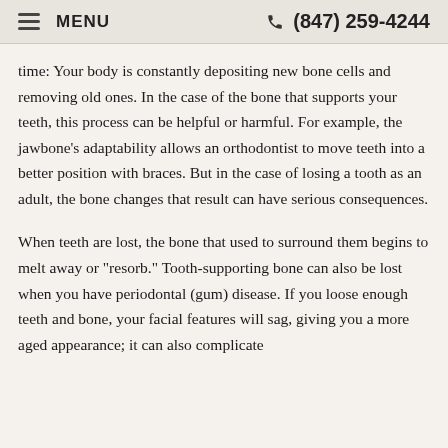MENU   (847) 259-4244
time: Your body is constantly depositing new bone cells and removing old ones. In the case of the bone that supports your teeth, this process can be helpful or harmful. For example, the jawbone's adaptability allows an orthodontist to move teeth into a better position with braces. But in the case of losing a tooth as an adult, the bone changes that result can have serious consequences.
When teeth are lost, the bone that used to surround them begins to melt away or "resorb." Tooth-supporting bone can also be lost when you have periodontal (gum) disease. If you loose enough teeth and bone, your facial features will sag, giving you a more aged appearance; it can also complicate...